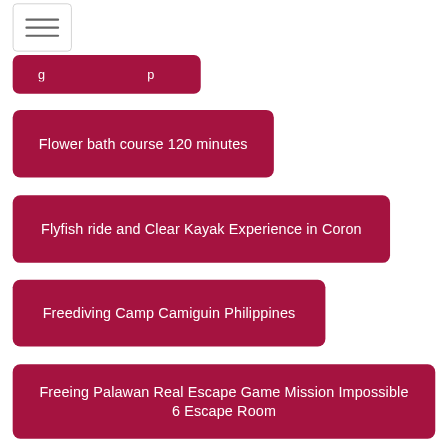[Figure (screenshot): Hamburger menu button icon with three horizontal lines]
Flower bath course 120 minutes
Flyfish ride and Clear Kayak Experience in Coron
Freediving Camp Camiguin Philippines
Freeing Palawan Real Escape Game Mission Impossible 6 Escape Room
Freeing Palawan Real Escape Game The Exorcist